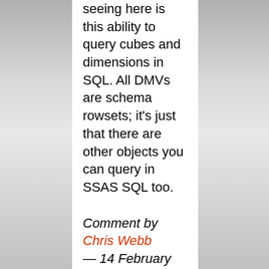seeing here is this ability to query cubes and dimensions in SQL. All DMVs are schema rowsets; it's just that there are other objects you can query in SSAS SQL too.
Comment by Chris Webb — 14 February 2011 @ 10:25 pm |